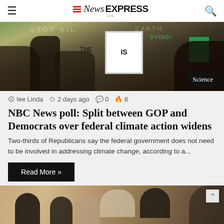NewsEXPRESS
[Figure (photo): Protest scene with people holding signs, Science badge overlay]
lee Linda  2 days ago  0  6
NBC News poll: Split between GOP and Democrats over federal climate action widens
Two-thirds of Republicans say the federal government does not need to be involved in addressing climate change, according to a...
Read More »
[Figure (photo): Group of young people outdoors, smiling]